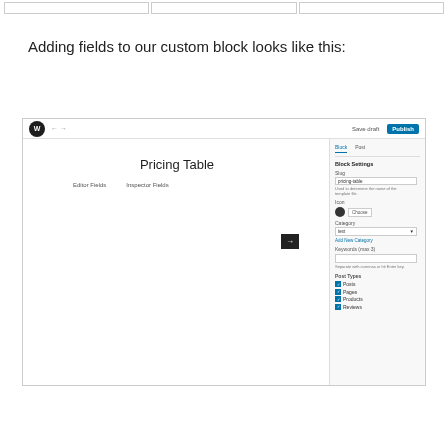[Figure (screenshot): Top strip showing three empty cells/boxes in a row]
Adding fields to our custom block looks like this:
[Figure (screenshot): WordPress block editor screenshot showing a 'Pricing Table' block being configured. The block editor shows a main content area with 'Pricing Table' as the heading, 'Editor Fields' and 'Inspector Fields' tabs, and a small dark icon. The right sidebar shows Block and Post settings panels including: Block Settings section with Slug field (value: pricing-table), Icon field with a Choose button, Category dropdown (text: text), Add New Category link, Keywords (max 3) input field, Post Types section with checkboxes for Posts, Pages, Products, and Reviews (all checked).]